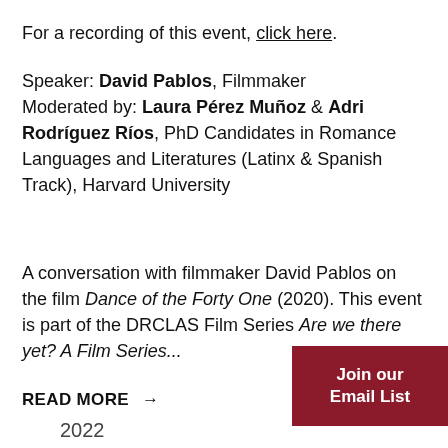For a recording of this event, click here.
Speaker: David Pablos, Filmmaker Moderated by: Laura Pérez Muñoz & Adri Rodríguez Ríos, PhD Candidates in Romance Languages and Literatures (Latinx & Spanish Track), Harvard University
A conversation with filmmaker David Pablos on the film Dance of the Forty One (2020). This event is part of the DRCLAS Film Series Are we there yet? A Film Series...
READ MORE →
Join our Email List
2022